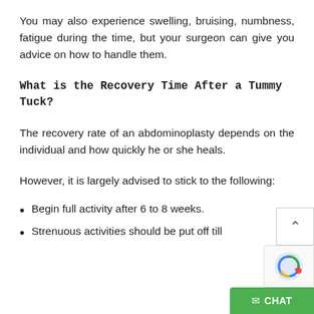You may also experience swelling, bruising, numbness, fatigue during the time, but your surgeon can give you advice on how to handle them.
What is the Recovery Time After a Tummy Tuck?
The recovery rate of an abdominoplasty depends on the individual and how quickly he or she heals.
However, it is largely advised to stick to the following:
Begin full activity after 6 to 8 weeks.
Strenuous activities should be put off till 8 weeks.